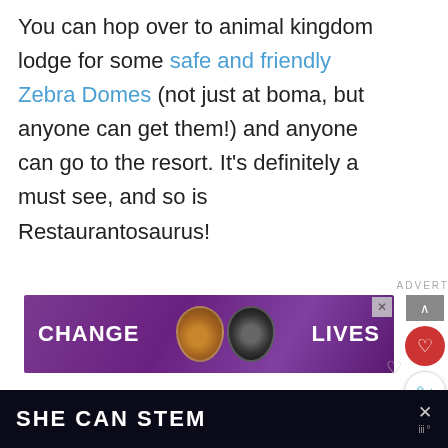You can hop over to animal kingdom lodge for some safe and friendly Zebra Domes (not just at boma, but anyone can get them!) and anyone can go to the resort. It's definitely a must see, and so is Restaurantosaurus!
[Figure (other): Advertisement banner with purple background showing two cat faces and text 'CHANGE LIVES']
[Figure (other): Bottom advertisement bar with dark background showing 'SHE CAN STEM' text]